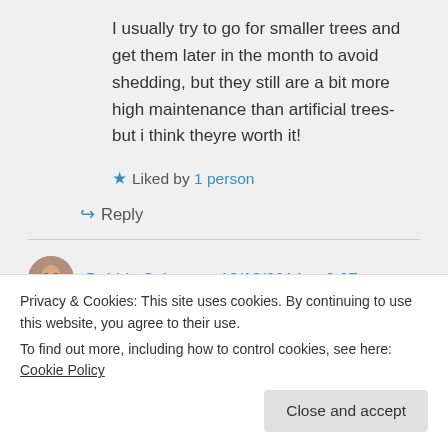I usually try to go for smaller trees and get them later in the month to avoid shedding, but they still are a bit more high maintenance than artificial trees- but i think theyre worth it!
Liked by 1 person
↳ Reply
Debbie Spivey on 12/12/2014 at 2:37
Privacy & Cookies: This site uses cookies. By continuing to use this website, you agree to their use. To find out more, including how to control cookies, see here: Cookie Policy